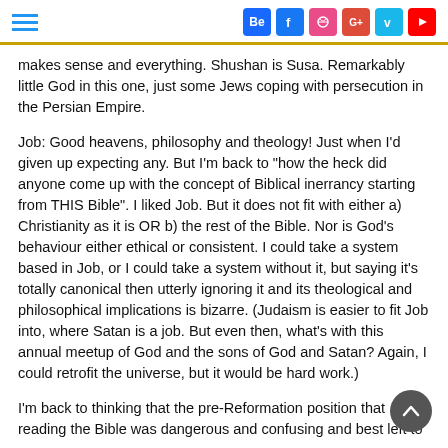[hamburger menu] [social icons: Be, Facebook, Dribbble, Google+, Vine, YouTube]
makes sense and everything. Shushan is Susa. Remarkably little God in this one, just some Jews coping with persecution in the Persian Empire.
Job: Good heavens, philosophy and theology! Just when I'd given up expecting any. But I'm back to "how the heck did anyone come up with the concept of Biblical inerrancy starting from THIS Bible". I liked Job. But it does not fit with either a) Christianity as it is OR b) the rest of the Bible. Nor is God's behaviour either ethical or consistent. I could take a system based in Job, or I could take a system without it, but saying it's totally canonical then utterly ignoring it and its theological and philosophical implications is bizarre. (Judaism is easier to fit Job into, where Satan is a job. But even then, what's with this annual meetup of God and the sons of God and Satan? Again, I could retrofit the universe, but it would be hard work.)
I'm back to thinking that the pre-Reformation position that reading the Bible was dangerous and confusing and best left to